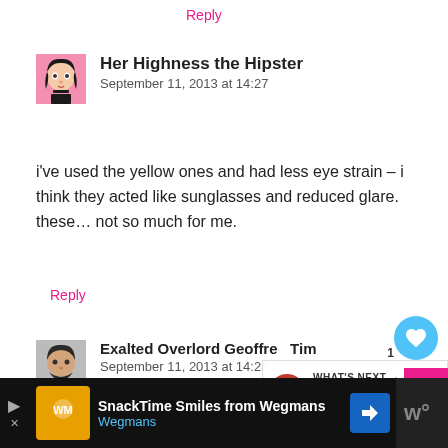Reply
Her Highness the Hipster
September 11, 2013 at 14:27
i've used the yellow ones and had less eye strain – i think they acted like sunglasses and reduced glare. these… not so much for me.
Reply
Exalted Overlord Geoffrey Tim
September 11, 2013 at 14:28
I got those, and got an instant headache. I will never let Gunnars touch my face ever again.
WHAT'S NEXT → FFD: What sorts of bad...
SnackTime Smiles from Wegmans Wegmans